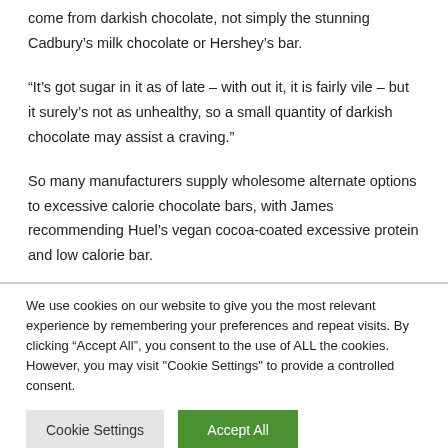come from darkish chocolate, not simply the stunning Cadbury's milk chocolate or Hershey's bar.
“It’s got sugar in it as of late – with out it, it is fairly vile – but it surely’s not as unhealthy, so a small quantity of darkish chocolate may assist a craving.”
So many manufacturers supply wholesome alternate options to excessive calorie chocolate bars, with James recommending Huel’s vegan cocoa-coated excessive protein and low calorie bar.
We use cookies on our website to give you the most relevant experience by remembering your preferences and repeat visits. By clicking “Accept All”, you consent to the use of ALL the cookies. However, you may visit "Cookie Settings" to provide a controlled consent.